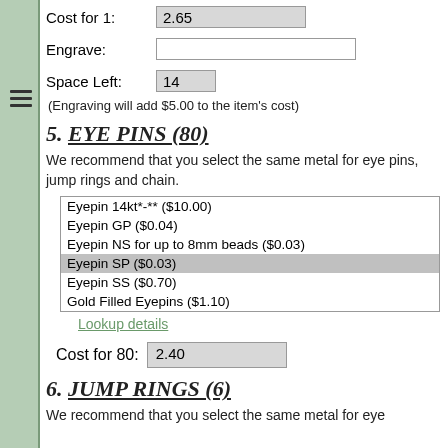Cost for 1: 2.65
Engrave:
Space Left: 14
(Engraving will add $5.00 to the item's cost)
5. EYE PINS (80)
We recommend that you select the same metal for eye pins, jump rings and chain.
Eyepin 14kt*-** ($10.00)
Eyepin GP ($0.04)
Eyepin NS for up to 8mm beads ($0.03)
Eyepin SP ($0.03)
Eyepin SS ($0.70)
Gold Filled Eyepins ($1.10)
Lookup details
Cost for 80: 2.40
6. JUMP RINGS (6)
We recommend that you select the same metal for eye